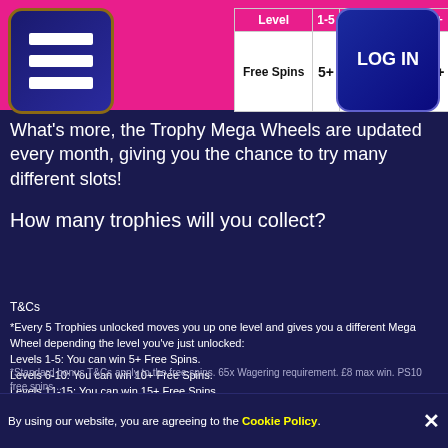[Figure (other): Navigation menu icon — dark blue rounded square with three white horizontal bars]
| Level | 1-5 | 6-10 | 11-15 | 16+ |
| --- | --- | --- | --- | --- |
| Free Spins | 5+ | 10+ | 15+ | 20+ |
[Figure (other): LOG IN button — dark blue rounded square with white LOG IN text]
What's more, the Trophy Mega Wheels are updated every month, giving you the chance to try many different slots!
How many trophies will you collect?
T&Cs
*Every 5 Trophies unlocked moves you up one level and gives you a different Mega Wheel depending the level you've just unlocked: Levels 1-5: You can win 5+ Free Spins. Levels 6-10: You can win 10+ Free Spins. Levels 11-15: You can win 15+ Free Spins. Levels 16+: You can win 20+ Free Spins.
*Standard bonus T&Cs apply to the free spins. 65x Wagering requirement. £8 max win. PS10 free spins ...
By using our website, you are agreeing to the Cookie Policy.